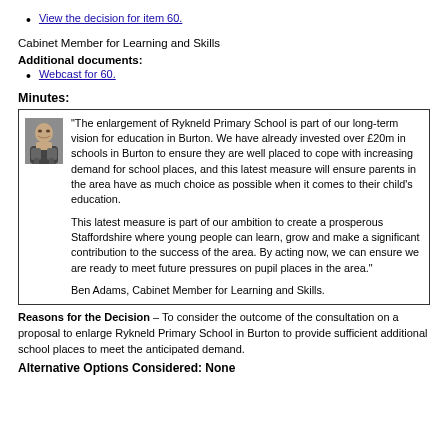View the decision for item 60.
Cabinet Member for Learning and Skills
Additional documents:
Webcast for 60.
Minutes:
“The enlargement of Rykneld Primary School is part of our long-term vision for education in Burton.  We have already invested over £20m in schools in Burton to ensure they are well placed to cope with increasing demand for school places, and this latest measure will ensure parents in the area have as much choice as possible when it comes to their child’s education.

This latest measure is part of our ambition to create a prosperous Staffordshire where young people can learn, grow and make a significant contribution to the success of the area.  By acting now, we can ensure we are ready to meet future pressures on pupil places in the area.”

Ben Adams, Cabinet Member for Learning and Skills.
Reasons for the Decision – To consider the outcome of the consultation on a proposal to enlarge Rykneld Primary School in Burton to provide sufficient additional school places to meet the anticipated demand.
Alternative Options Considered: None